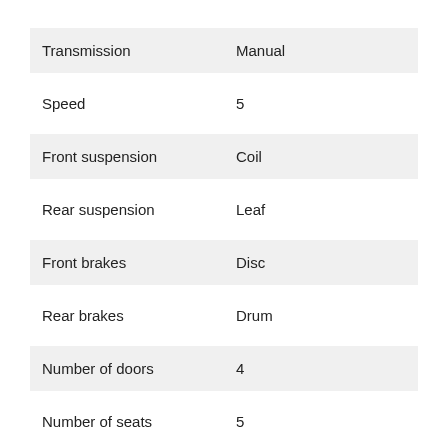| Attribute | Value |
| --- | --- |
| Transmission | Manual |
| Speed | 5 |
| Front suspension | Coil |
| Rear suspension | Leaf |
| Front brakes | Disc |
| Rear brakes | Drum |
| Number of doors | 4 |
| Number of seats | 5 |